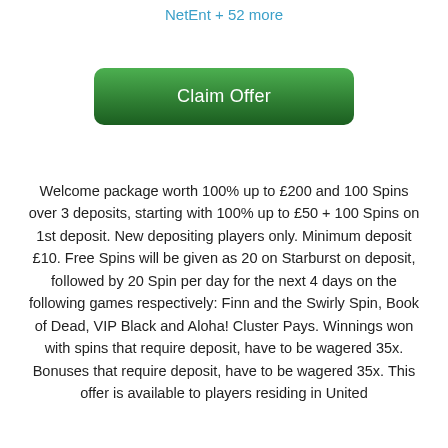NetEnt + 52 more
Claim Offer
Welcome package worth 100% up to £200 and 100 Spins over 3 deposits, starting with 100% up to £50 + 100 Spins on 1st deposit. New depositing players only. Minimum deposit £10. Free Spins will be given as 20 on Starburst on deposit, followed by 20 Spin per day for the next 4 days on the following games respectively: Finn and the Swirly Spin, Book of Dead, VIP Black and Aloha! Cluster Pays. Winnings won with spins that require deposit, have to be wagered 35x. Bonuses that require deposit, have to be wagered 35x. This offer is available to players residing in United